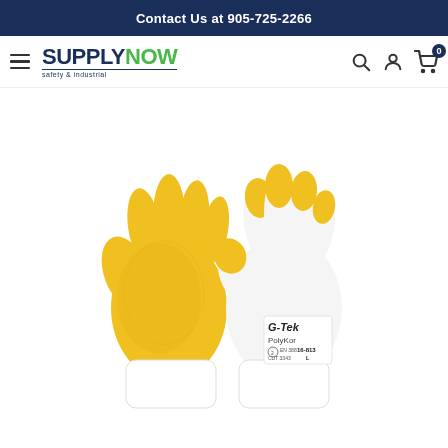Contact Us at 905-725-2266
[Figure (logo): SupplyNow Safety & Industrial logo with hamburger menu and navigation icons (search, account, cart with 0 badge)]
[Figure (photo): G-Tek PolyKor work gloves — white knit back with yellow latex-crinkle coated palm and fingers, shown as a pair (palm view left, back view right). Label reads G-Tek PolyKor, 16-813, L, CUT 3343.]